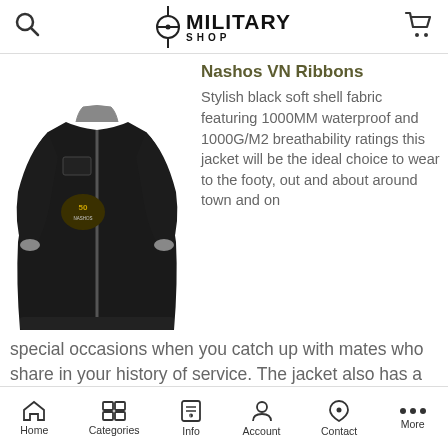Military Shop
[Figure (photo): Black soft shell jacket with embroidered patch on chest, grey accents at collar and cuffs, full front zip]
Nashos VN Ribbons
Stylish black soft shell fabric featuring 1000MM waterproof and 1000G/M2 breathability ratings this jacket will be the ideal choice to wear to the footy, out and about around town and on special occasions when you catch up with mates who share in your history of service. The jacket also has a quality two way zipper, front zippered
Home  Categories  Info  Account  Contact  More